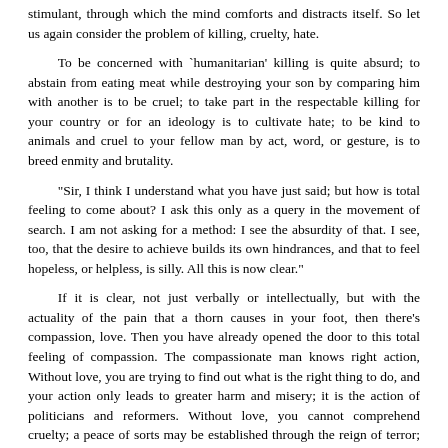stimulant, through which the mind comforts and distracts itself. So let us again consider the problem of killing, cruelty, hate.
To be concerned with `humanitarian' killing is quite absurd; to abstain from eating meat while destroying your son by comparing him with another is to be cruel; to take part in the respectable killing for your country or for an ideology is to cultivate hate; to be kind to animals and cruel to your fellow man by act, word, or gesture, is to breed enmity and brutality.
"Sir, I think I understand what you have just said; but how is total feeling to come about? I ask this only as a query in the movement of search. I am not asking for a method: I see the absurdity of that. I see, too, that the desire to achieve builds its own hindrances, and that to feel hopeless, or helpless, is silly. All this is now clear."
If it is clear, not just verbally or intellectually, but with the actuality of the pain that a thorn causes in your foot, then there's compassion, love. Then you have already opened the door to this total feeling of compassion. The compassionate man knows right action, Without love, you are trying to find out what is the right thing to do, and your action only leads to greater harm and misery; it is the action of politicians and reformers. Without love, you cannot comprehend cruelty; a peace of sorts may be established through the reign of terror; but war, killing, will continue at another level of our existence.
"We haven't got compassion, sir, and that's the real source of